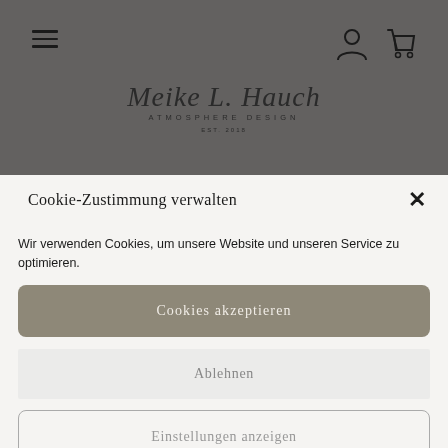[Figure (screenshot): Website header with dark grey background showing hamburger menu icon on left, user account icon and shopping cart icon on right, and a script/cursive logo in the center reading 'Meike L. Hauch – Atmosphere Design']
Cookie-Zustimmung verwalten
Wir verwenden Cookies, um unsere Website und unseren Service zu optimieren.
Cookies akzeptieren
Ablehnen
Einstellungen anzeigen